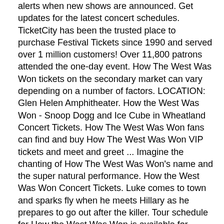alerts when new shows are announced. Get updates for the latest concert schedules. TicketCity has been the trusted place to purchase Festival Tickets since 1990 and served over 1 million customers! Over 11,800 patrons attended the one-day event. How The West Was Won tickets on the secondary market can vary depending on a number of factors. LOCATION: Glen Helen Amphitheater. How the West Was Won - Snoop Dogg and Ice Cube in Wheatland Concert Tickets. How The West Was Won fans can find and buy How The West Was Won VIP tickets and meet and greet ... Imagine the chanting of How The West Was Won's name and the super natural performance. How the West Was Won Concert Tickets. Luke comes to town and sparks fly when he meets Hillary as he prepares to go out after the killer. Tour schedule for How the West Was Won is available for viewing above. Special attention in how the west was won concert deserves a visual representation of the compositions in video clips or in concert shows. Am 23. Our How the West Was Won page offers the current headliners, real-time ticket availability and an array of the best ticket prices. Concert Tickets, Tour Announcements And More!. Need How the West Was Won Parking Tickets? We have tickets to meet every budget for the